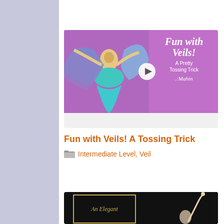[Figure (screenshot): Video thumbnail for 'Fun with Veils! A Tossing Trick' showing a belly dancer in teal costume holding colorful veils on purple background, with play button, text 'Fun with Veils! A Pretty Tossing Trick' and Mahin signature]
Fun with Veils! A Tossing Trick
Intermediate Level, Veil
[Figure (screenshot): Partial video thumbnail showing 'An Elegant' text in gold decorative frame on black background with partial image of a dancer on the right]